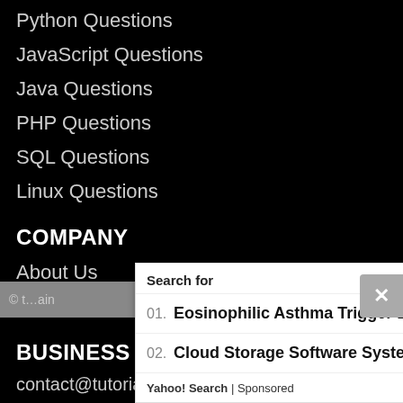Python Questions
JavaScript Questions
Java Questions
PHP Questions
SQL Questions
Linux Questions
COMPANY
About Us
Contact Us
BUSINESS ENQUIRY
contact@tutorialink.com
tutoriallink
[Figure (screenshot): Ad overlay showing Yahoo Search sponsored results for 'Eosinophilic Asthma Trigger Latest' and 'Cloud Storage Software System']